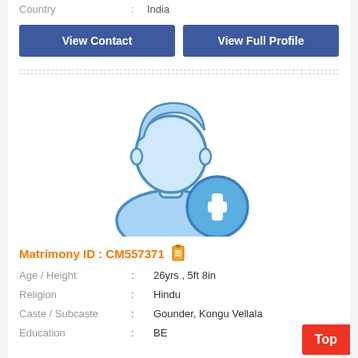Country : India
View Contact
View Full Profile
[Figure (illustration): Generic male profile avatar placeholder with a blue '+' add icon overlay in the lower right]
Matrimony ID : CM557371
Age / Height : 26yrs , 5ft 8in
Religion : Hindu
Caste / Subcaste : Gounder, Kongu Vellala
Education : BE